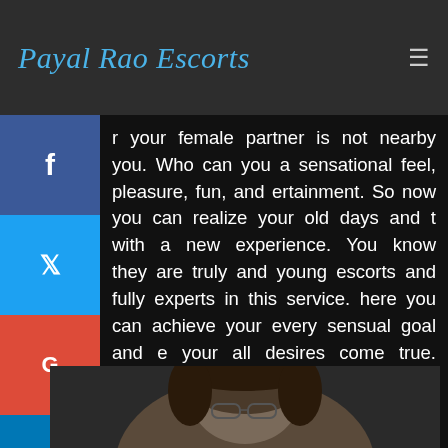Payal Rao Escorts
your female partner is not nearby you. Who can you a sensational feel, pleasure, fun, and ertainment. So now you can realize your old days and t with a new experience. You know they are truly and young escorts and fully experts in this service. here you can achieve your every sensual goal and e your all desires come true. With these hottest orts, you can get every kind of fun and pleasure hchever think in your mind.
[Figure (photo): Partial photo of a person, visible from mid-face upward, showing hair and eyes, cropped at bottom of page]